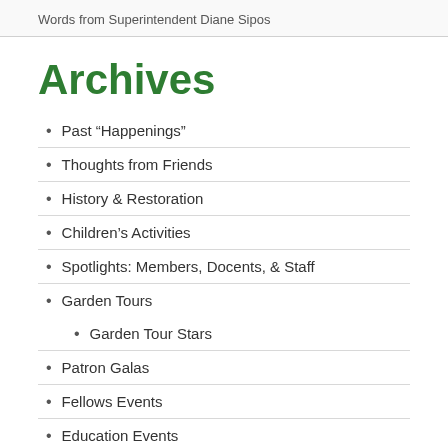Words from Superintendent Diane Sipos
Archives
Past “Happenings”
Thoughts from Friends
History & Restoration
Children’s Activities
Spotlights: Members, Docents, & Staff
Garden Tours
Garden Tour Stars
Patron Galas
Fellows Events
Education Events